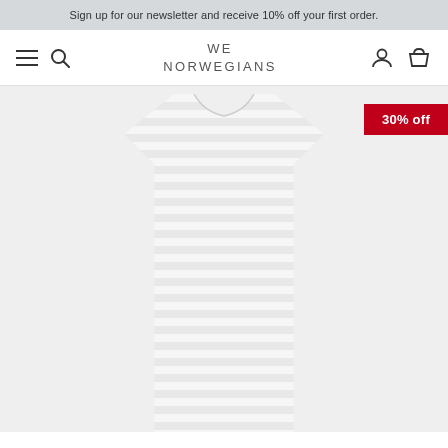Sign up for our newsletter and receive 10% off your first order.
WE
NORWEGIANS
[Figure (photo): A light grey and white horizontal striped t-shirt dress displayed on a light grey background. A red badge in the top right reads '30% off'.]